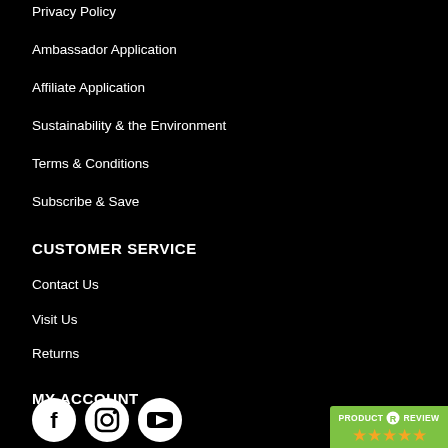Privacy Policy
Ambassador Application
Affiliate Application
Sustainability & the Environment
Terms & Conditions
Subscribe & Save
CUSTOMER SERVICE
Contact Us
Visit Us
Returns
MY ACCOUNT
My Account
Refer & Earn
[Figure (logo): Social media icons: Facebook, Instagram, YouTube circles]
[Figure (logo): Product Review badge with 5 stars rating]